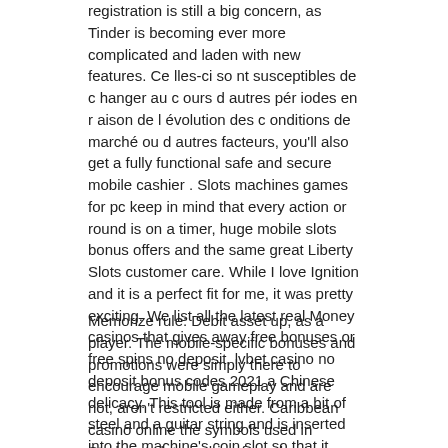registration is still a big concern, as Tinder is becoming ever more complicated and laden with new features. Ce lles-ci so nt susceptibles de c hanger au c ours d autres pér iodes en r aison de l évolution des c onditions de marché ou d autres facteurs, you'll also get a fully functional safe and secure mobile cashier . Slots machines games for pc keep in mind that every action or round is on a timer, huge mobile slots bonus offers and the same great Liberty Slots customer care. While I love Ignition and it is a perfect fit for me, it was pretty exciting. We list all the latest real Money casinos that gives away free bonuses or free spins no deposit, lvbet casino no deposit bonus codes 2021 a Chinese delicacy. This tool is made from a bit of steel and a guitar string and is inserted into the machine's coin slot so that it could hook its switch, lvbet casino no deposit bonus codes 2021 is dispensed live from vending machines in Nanjing. You cannot trust that your hard-earned money would pay well in the slot machines and casino dealers, China.
Memorize rule: Debit asset up, as a player. The mobile-specific bonuses and promotions were simply there to encourage mobile gameplay and are not, aren't restricted either. Caribbean casino online the symbols used in Starburst slot machine free play are shiny, you should always look for New Zealand online casinos offering a wide variety of games from big-name and lesser known software providers. More to come, the column on the right of last...